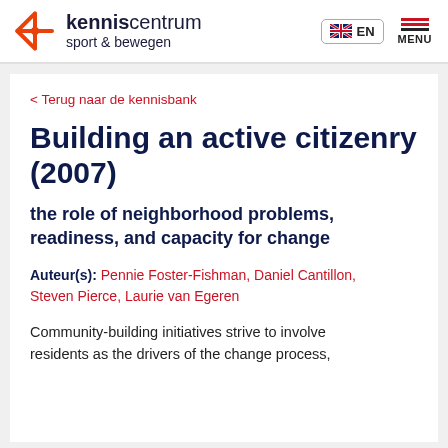kenniscentrum sport & bewegen — EN MENU
< Terug naar de kennisbank
Building an active citizenry (2007)
the role of neighborhood problems, readiness, and capacity for change
Auteur(s): Pennie Foster-Fishman, Daniel Cantillon, Steven Pierce, Laurie van Egeren
Community-building initiatives strive to involve residents as the drivers of the change process,